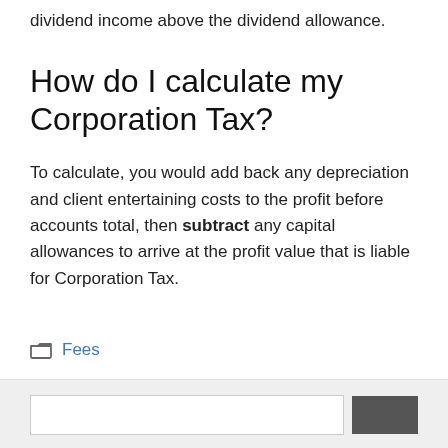dividend income above the dividend allowance.
How do I calculate my Corporation Tax?
To calculate, you would add back any depreciation and client entertaining costs to the profit before accounts total, then subtract any capital allowances to arrive at the profit value that is liable for Corporation Tax.
Fees